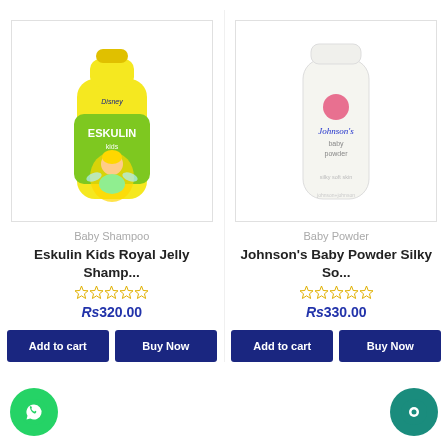[Figure (photo): Eskulin Kids Royal Jelly Shampoo bottle with Disney Tinkerbell character, yellow and green packaging]
[Figure (photo): Johnson's Baby Powder Silky Soft bottle, white plastic container with pink Johnson's logo]
Baby Shampoo
Baby Powder
Eskulin Kids Royal Jelly Shamp...
Johnson's Baby Powder Silky So...
Rs320.00
Rs330.00